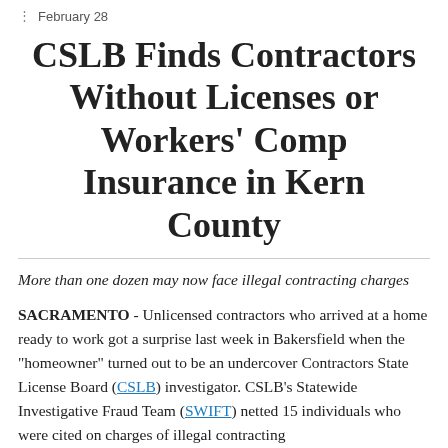February 28
CSLB Finds Contractors Without Licenses or Workers' Comp Insurance in Kern County
More than one dozen may now face illegal contracting charges
SACRAMENTO - Unlicensed contractors who arrived at a home ready to work got a surprise last week in Bakersfield when the "homeowner" turned out to be an undercover Contractors State License Board (CSLB) investigator. CSLB's Statewide Investigative Fraud Team (SWIFT) netted 15 individuals who were cited on charges of illegal contracting